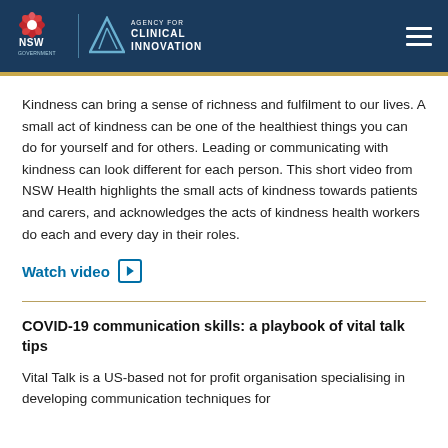NSW Government | Agency for Clinical Innovation
Kindness can bring a sense of richness and fulfilment to our lives. A small act of kindness can be one of the healthiest things you can do for yourself and for others. Leading or communicating with kindness can look different for each person. This short video from NSW Health highlights the small acts of kindness towards patients and carers, and acknowledges the acts of kindness health workers do each and every day in their roles.
Watch video ▶
COVID-19 communication skills: a playbook of vital talk tips
Vital Talk is a US-based not for profit organisation specialising in developing communication techniques for